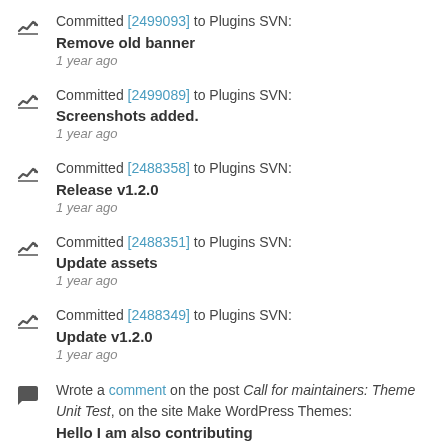Committed [2499093] to Plugins SVN: Remove old banner 1 year ago
Committed [2499089] to Plugins SVN: Screenshots added. 1 year ago
Committed [2488358] to Plugins SVN: Release v1.2.0 1 year ago
Committed [2488351] to Plugins SVN: Update assets 1 year ago
Committed [2488349] to Plugins SVN: Update v1.2.0 1 year ago
Wrote a comment on the post Call for maintainers: Theme Unit Test, on the site Make WordPress Themes: Hello I am also contributing